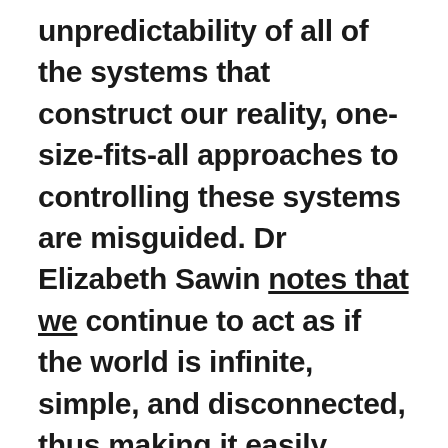unpredictability of all of the systems that construct our reality, one-size-fits-all approaches to controlling these systems are misguided. Dr Elizabeth Sawin notes that we continue to act as if the world is infinite, simple, and disconnected, thus making it easily controllable. The opposite is in fact true. The world is finite and connected in webs of mutual causality, most of the effects of which we cannot feasibly predict in the long term. The takeaway from this for thinking about international relations is simple: we must abandon dogmatic and totalising approaches to international relations and